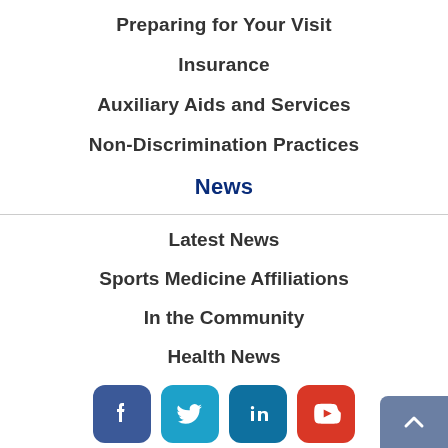Preparing for Your Visit
Insurance
Auxiliary Aids and Services
Non-Discrimination Practices
News
Latest News
Sports Medicine Affiliations
In the Community
Health News
[Figure (infographic): Row of four social media icon buttons: Facebook (dark blue), Twitter (light blue), LinkedIn (teal blue), YouTube (red-orange), and a partial Instagram icon (pink/purple gradient) below.]